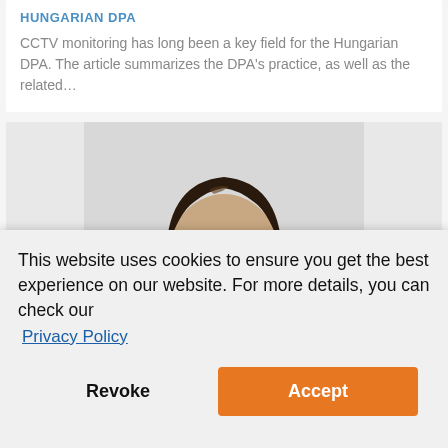HUNGARIAN DPA
CCTV monitoring has long been a key field for the Hungarian DPA. The article summarizes the DPA's practice, as well as the related...
[Figure (photo): Partial top of a person's head with dark hair against a light grey background]
This website uses cookies to ensure you get the best experience on our website. For more details, you can check our
Privacy Policy
Revoke
Accept
vehicle purchased by the...